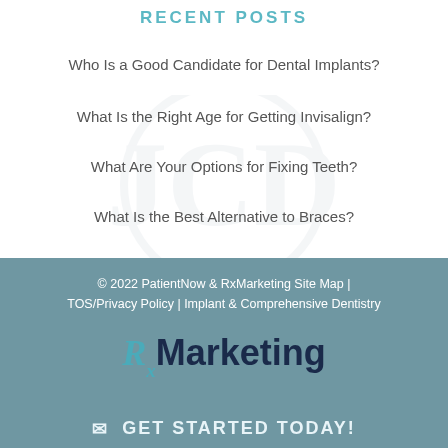RECENT POSTS
Who Is a Good Candidate for Dental Implants?
What Is the Right Age for Getting Invisalign?
What Are Your Options for Fixing Teeth?
What Is the Best Alternative to Braces?
© 2022 PatientNow & RxMarketing Site Map | TOS/Privacy Policy | Implant & Comprehensive Dentistry
[Figure (logo): RxMarketing logo with styled Rx in teal and Marketing in dark navy]
GET STARTED TODAY!